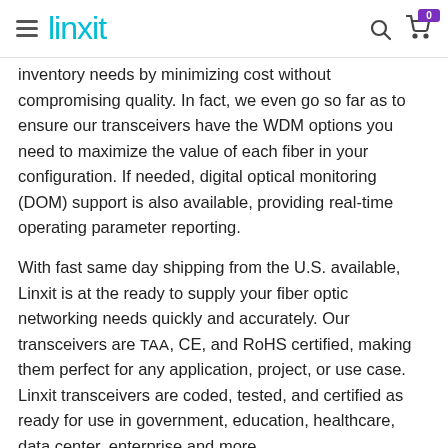linxit  [search] [cart 0]
inventory needs by minimizing cost without compromising quality. In fact, we even go so far as to ensure our transceivers have the WDM options you need to maximize the value of each fiber in your configuration. If needed, digital optical monitoring (DOM) support is also available, providing real-time operating parameter reporting.
With fast same day shipping from the U.S. available, Linxit is at the ready to supply your fiber optic networking needs quickly and accurately. Our transceivers are TAA, CE, and RoHS certified, making them perfect for any application, project, or use case. Linxit transceivers are coded, tested, and certified as ready for use in government, education, healthcare, data center, enterprise and more.